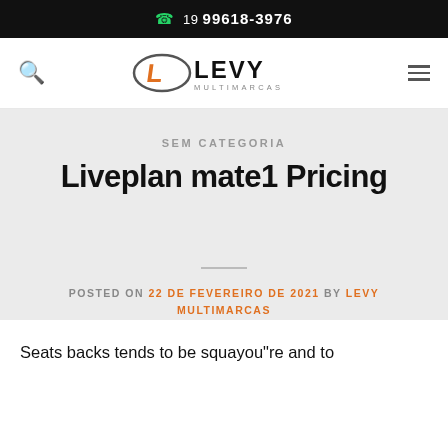19 99618-3976
[Figure (logo): Levy Multimarcas logo with oval L emblem and bold LEVY MULTIMARCAS text]
SEM CATEGORIA
Liveplan mate1 Pricing
POSTED ON 22 DE FEVEREIRO DE 2021 BY LEVY MULTIMARCAS
Seats backs tends to be squayou"re and to